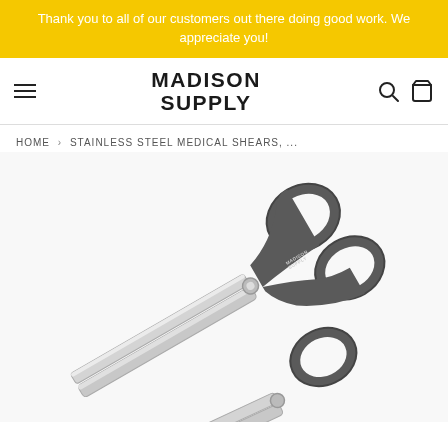Thank you to all of our customers out there doing good work. We appreciate you!
MADISON SUPPLY
HOME > STAINLESS STEEL MEDICAL SHEARS, ...
[Figure (photo): Stainless steel medical trauma shears/scissors with gray handles, showing two scissor instruments, one with the MADISON SUPPLY logo on the handle. The scissors are positioned diagonally on a white background.]